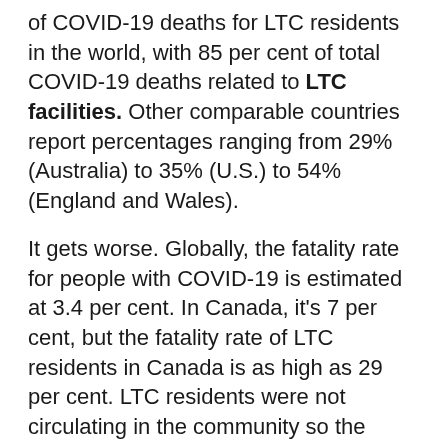of COVID-19 deaths for LTC residents in the world, with 85 per cent of total COVID-19 deaths related to LTC facilities. Other comparable countries report percentages ranging from 29% (Australia) to 35% (U.S.) to 54% (England and Wales).
It gets worse. Globally, the fatality rate for people with COVID-19 is estimated at 3.4 per cent. In Canada, it's 7 per cent, but the fatality rate of LTC residents in Canada is as high as 29 per cent. LTC residents were not circulating in the community so the lockdown did little to reduce Canada's overall deaths due to COVID-19.
Nor were we successful in protecting those in corrections institutions, shelters and migrant worker living quarters.
The inadequate pandemic response that led to the above failures is rooted in Canada's inability to adequately test, isolate and implement effective contact tracing in